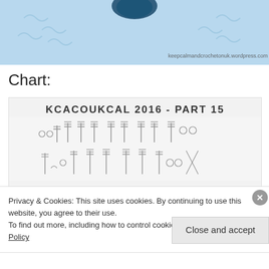[Figure (photo): Close-up photo of a blue crochet granny square with a dark teal center, with watermark text 'keepcalmandcrochetonuk.wordpress.com']
Chart:
[Figure (illustration): Crochet chart diagram image with title 'KCACOUKCAL 2016 - PART 15' showing crochet stitch symbols in rows]
Privacy & Cookies: This site uses cookies. By continuing to use this website, you agree to their use.
To find out more, including how to control cookies, see here: Our Cookie Policy
Close and accept